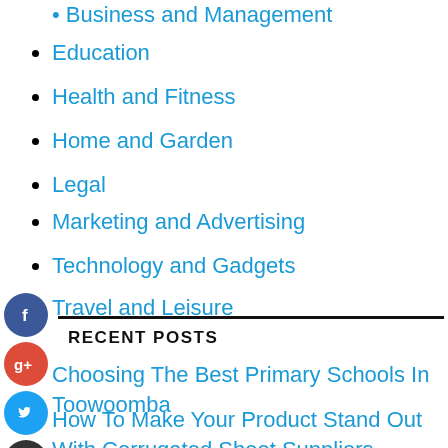Business and Management
Education
Health and Fitness
Home and Garden
Legal
Marketing and Advertising
Technology and Gadgets
Travel and Leisure
[Figure (infographic): Social media sharing icons: Facebook (blue circle), Google+ (red circle), Twitter (blue circle), Plus/Share (dark circle)]
RECENT POSTS
Choosing The Best Primary Schools In Toowoomba
How To Make Your Product Stand Out With Corrugated Sheet Suppliers